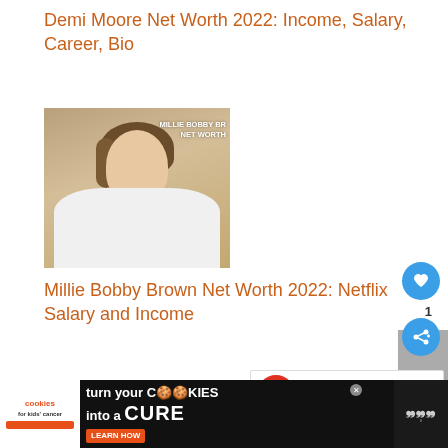Demi Moore Net Worth 2022: Income, Salary, Career, Bio
[Figure (photo): Photo of Millie Bobby Brown in white dress with watermark text 'MILLIE BOBBY BR... NET WORTH']
Millie Bobby Brown Net Worth 2022: Netflix Salary and Income
[Figure (infographic): Blue circular like button with heart icon, count of 1, blue share button, gray rectangle overlay]
[Figure (infographic): What's Next panel with avatar photo, label 'WHAT'S NEXT →', text 'Johnny Weir Net Worth...']
[Figure (infographic): Advertisement banner: Cookies for Kids' Cancer - turn your cookies into a CURE LEARN HOW, with close X button and W logo on right]